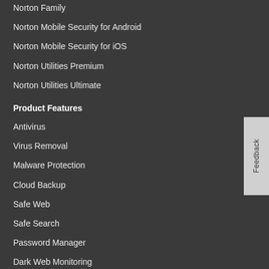Norton Family
Norton Mobile Security for Android
Norton Mobile Security for iOS
Norton Utilities Premium
Norton Utilities Ultimate
Product Features
Antivirus
Virus Removal
Malware Protection
Cloud Backup
Safe Web
Safe Search
Password Manager
Dark Web Monitoring
Services & Support
Norton Support
Norton Update Centre